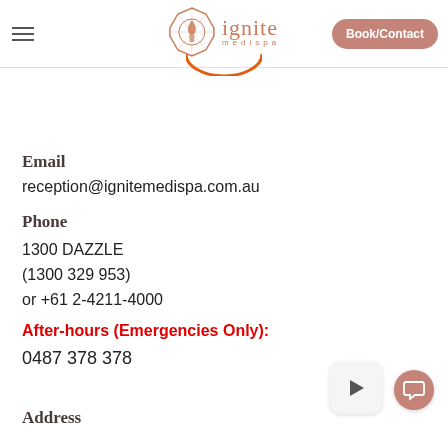ignite medispa — Book/Contact
Email
reception@ignitemedispa.com.au
Phone
1300 DAZZLE
(1300 329 953)
or +61 2-4211-4000
After-hours (Emergencies Only):
0487 378 378
Address